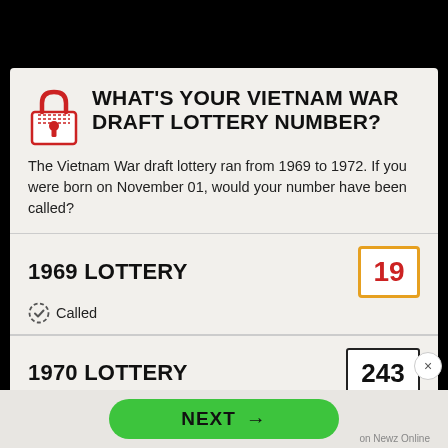WHAT'S YOUR VIETNAM WAR DRAFT LOTTERY NUMBER?
The Vietnam War draft lottery ran from 1969 to 1972. If you were born on November 01, would your number have been called?
1969 LOTTERY
19
Called
1970 LOTTERY
243
Not Called   Not drafted
1971 LOTTERY
366